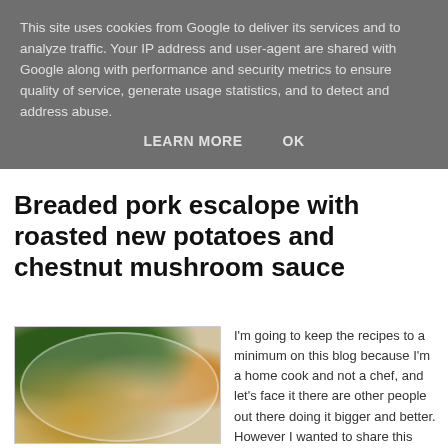This site uses cookies from Google to deliver its services and to analyze traffic. Your IP address and user-agent are shared with Google along with performance and security metrics to ensure quality of service, generate usage statistics, and to detect and address abuse.
LEARN MORE   OK
Breaded pork escalope with roasted new potatoes and chestnut mushroom sauce
[Figure (photo): A plate of breaded pork escalope topped with creamy chestnut mushroom sauce, served with roasted new potatoes and green vegetables (broccoli/kale) on a white plate]
I'm going to keep the recipes to a minimum on this blog because I'm a home cook and not a chef, and let's face it there are other people out there doing it bigger and better. However I wanted to share this recipe